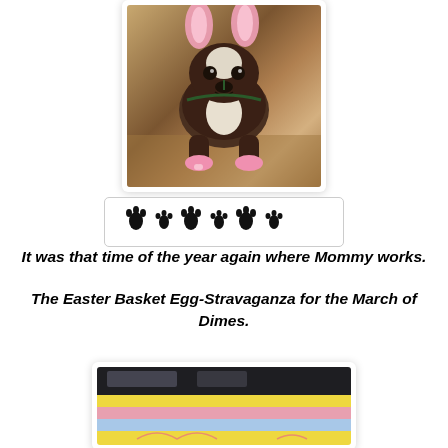[Figure (photo): A Boston Terrier dog dressed in pink bunny/Easter costume with pink ears and pink booties, standing on gravel outdoors]
[Figure (other): Row of decorative paw print symbols in a rounded rectangle border]
It was that time of the year again where Mommy works.
The Easter Basket Egg-Stravaganza for the March of Dimes.
[Figure (photo): Indoor scene showing colorful horizontal striped banner or table covering in yellow, pink, and blue stripes in a dark room]